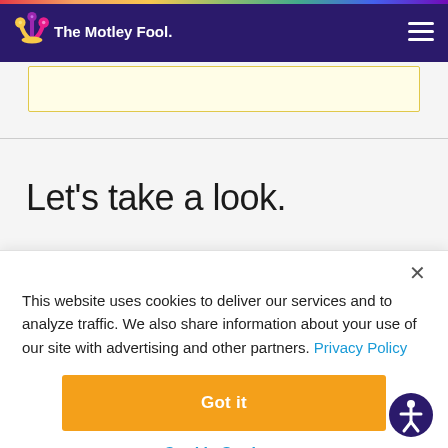The Motley Fool
[Figure (other): Yellow advertisement placeholder box with light yellow background and yellow border]
Let's take a look.
This website uses cookies to deliver our services and to analyze traffic. We also share information about your use of our site with advertising and other partners. Privacy Policy
Got it
Cookie Settings